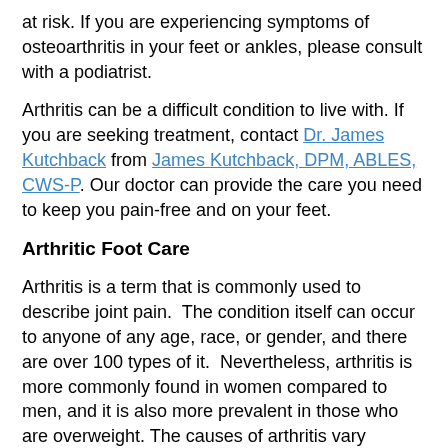at risk. If you are experiencing symptoms of osteoarthritis in your feet or ankles, please consult with a podiatrist.
Arthritis can be a difficult condition to live with. If you are seeking treatment, contact Dr. James Kutchback from James Kutchback, DPM, ABLES, CWS-P. Our doctor can provide the care you need to keep you pain-free and on your feet.
Arthritic Foot Care
Arthritis is a term that is commonly used to describe joint pain.  The condition itself can occur to anyone of any age, race, or gender, and there are over 100 types of it.  Nevertheless, arthritis is more commonly found in women compared to men, and it is also more prevalent in those who are overweight. The causes of arthritis vary depending on which type of arthritis you have. Osteoarthritis for example, is often caused by injury, while rheumatoid arthritis is caused by a misdirected immune system.
Symptoms
Swelling